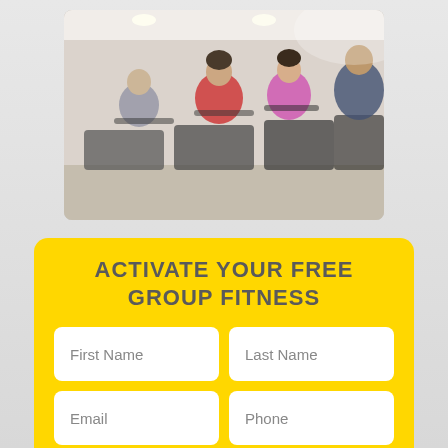[Figure (photo): Group fitness class with people on exercise bikes in a gym, seen from the side, motion blur effect on a bright background]
ACTIVATE YOUR FREE GROUP FITNESS
[Figure (other): Form with fields: First Name, Last Name, Email, Phone, Select Location dropdown, and a partially visible bottom field]